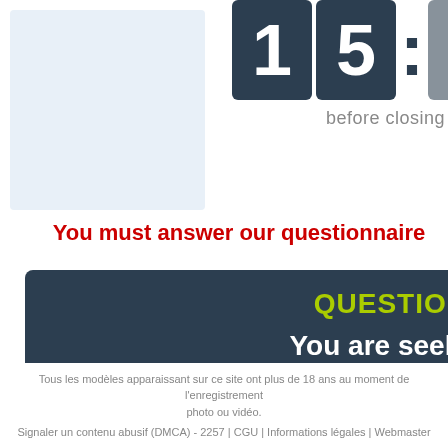[Figure (screenshot): Countdown timer showing digits '1' and '5' with a colon, on dark square backgrounds]
before closing reg
You must answer our questionnaire
QUESTION
You are seeki
Serious date
Tous les modèles apparaissant sur ce site ont plus de 18 ans au moment de l'enregistrement photo ou vidéo. Signaler un contenu abusif (DMCA) - 2257 | CGU | Informations légales | Webmaster